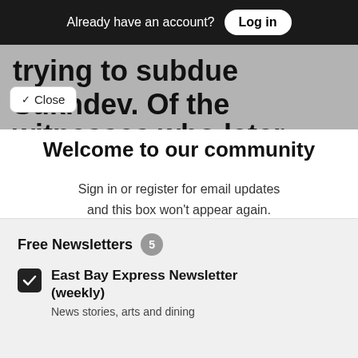Already have an account? Log in
trying to subdue Sukhdev. Of the
witnesses who later stepped
Close
Welcome to our community
Sign in or register for email updates and this box won't appear again. We're grateful for your support.
By registering you confirm you are 21+.
Free Newsletters 5
East Bay Express Newsletter (weekly) — News stories, arts and dining